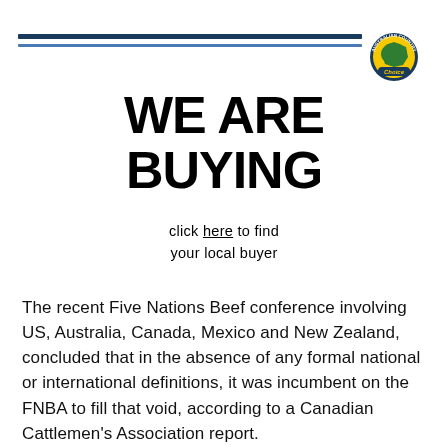[Figure (logo): Australian Country Choice logo — circular badge with green Australia continent shape, yellow and blue text, navy and blue horizontal bars to the left]
WE ARE BUYING
click here to find your local buyer
The recent Five Nations Beef conference involving US, Australia, Canada, Mexico and New Zealand, concluded that in the absence of any formal national or international definitions, it was incumbent on the FNBA to fill that void, according to a Canadian Cattlemen's Association report.